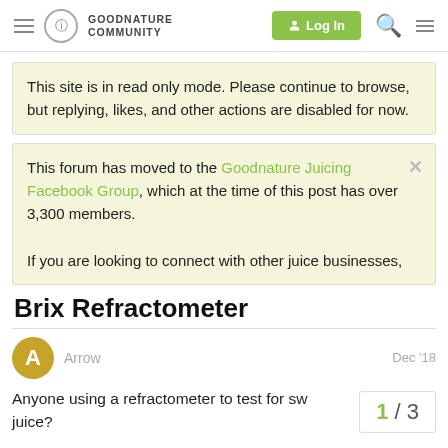GOODNATURE COMMUNITY — Log In
This site is in read only mode. Please continue to browse, but replying, likes, and other actions are disabled for now.
This forum has moved to the Goodnature Juicing Facebook Group, which at the time of this post has over 3,300 members.

If you are looking to connect with other juice businesses,
Brix Refractometer
Arrow  Dec '18
Anyone using a refractometer to test for sw juice?
1 / 3